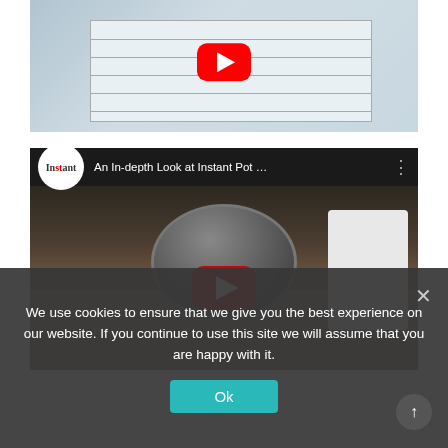[Figure (screenshot): YouTube video thumbnail showing a hand holding a pen over a notebook/logbook with handwritten entries. A red YouTube play button is visible in the upper portion of the image.]
[Figure (screenshot): YouTube video embed titled 'An In-depth Look at Instant Pot ...' with the Instant brand logo circle on the left, showing a person handling an Instant Pot pressure cooker lid in a kitchen setting. A red YouTube play button is centered on the video.]
We use cookies to ensure that we give you the best experience on our website. If you continue to use this site we will assume that you are happy with it.